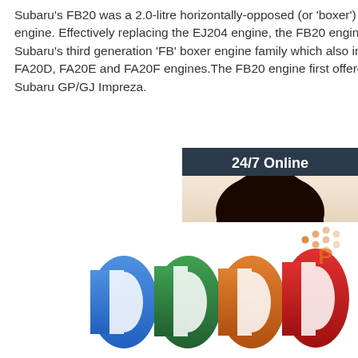Subaru's FB20 was a 2.0-litre horizontally-opposed (or 'boxer') four-cylinder petrol engine. Effectively replacing the EJ204 engine, the FB20 engine was a member of Subaru's third generation 'FB' boxer engine family which also included the FB25, FA20D, FA20E and FA20F engines.The FB20 engine first offered in Australia in 2012 Subaru GP/GJ Impreza.
[Figure (other): Orange 'Get Price' button]
[Figure (other): 24/7 Online chat widget with female customer support agent wearing headset, dark background, orange QUOTATION button]
[Figure (photo): Colorful silicone wristbands in blue, green, orange, and red colors arranged in a row, with a dotted logo in the top right corner]